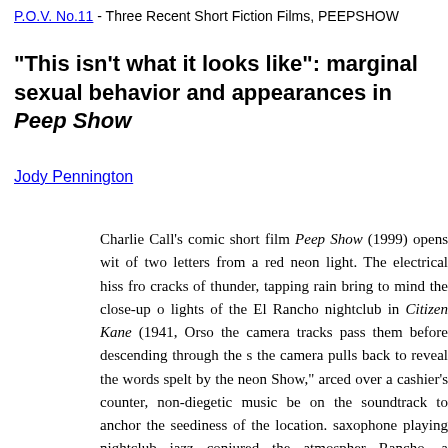P.O.V. No.11 - Three Recent Short Fiction Films, PEEPSHOW
"This isn't what it looks like": marginal sexual behavior and appearances in Peep Show
Jody Pennington
Charlie Call's comic short film Peep Show (1999) opens with of two letters from a red neon light. The electrical hiss fro cracks of thunder, tapping rain bring to mind the close-up lights of the El Rancho nightclub in Citizen Kane (1941, Orso the camera tracks pass them before descending through the the camera pulls back to reveal the words spelt by the neon Show," arced over a cashier's counter, non-diegetic music be on the soundtrack to anchor the seediness of the location. saxophone playing nightclub jazz conjured the atmosphere Rancho, a Mexican-tinged, reverb-soaked guitar, accompa accordion conjures this disreputable locale. On the soundtra the Reverend Horton Heat, sets the tone of the film and associated with sexual desire that seeks its fulfillment conventional outlets permitted by the middle-class Unconventional desires are relegated to peep show fantasies